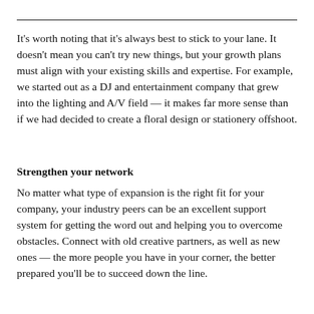It's worth noting that it's always best to stick to your lane. It doesn't mean you can't try new things, but your growth plans must align with your existing skills and expertise. For example, we started out as a DJ and entertainment company that grew into the lighting and A/V field — it makes far more sense than if we had decided to create a floral design or stationery offshoot.
Strengthen your network
No matter what type of expansion is the right fit for your company, your industry peers can be an excellent support system for getting the word out and helping you to overcome obstacles. Connect with old creative partners, as well as new ones — the more people you have in your corner, the better prepared you'll be to succeed down the line.